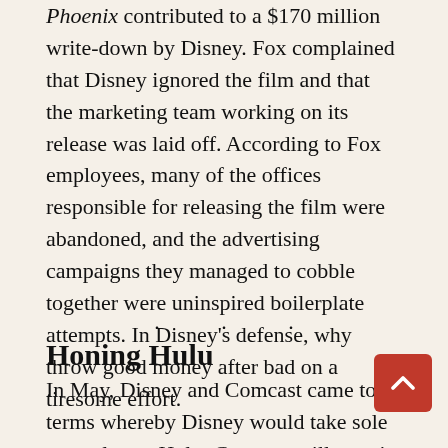Phoenix contributed to a $170 million write-down by Disney. Fox complained that Disney ignored the film and that the marketing team working on its release was laid off. According to Fox employees, many of the offices responsible for releasing the film were abandoned, and the advertising campaigns they managed to cobble together were uninspired boilerplate attempts. In Disney's defense, why throw good money after bad on a tiresome effort.
. . .
Honing Hulu
In May, Disney and Comcast came to terms whereby Disney would take sole control over Hulu. Comcast will remain a silent partner until 2024, at which ti either company can trigger a buyout of Comcast's 33%...